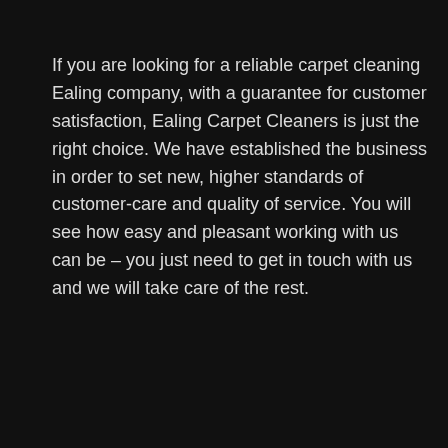If you are looking for a reliable carpet cleaning Ealing company, with a guarantee for customer satisfaction, Ealing Carpet Cleaners is just the right choice. We have established the business in order to set new, higher standards of customer-care and quality of service. You will see how easy and pleasant working with us can be – you just need to get in touch with us and we will take care of the rest.